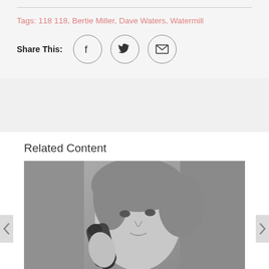Tags: 118 118, Bertie Miller, Dave Waters, Watermill
Share This:
[Figure (other): Share icons: Facebook, Twitter, Email in circular borders]
Related Content
[Figure (photo): Black and white photo of a young woman holding an old telephone receiver to her ear, looking slightly distressed or worried]